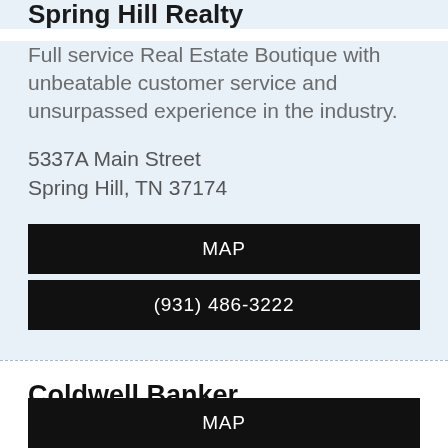Spring Hill Realty
Full service Real Estate Boutique with unbeatable customer service and unsurpassed experience in the industry.
5337A Main Street
Spring Hill, TN 37174
MAP
(931) 486-3222
Coldwell Banker Southern Realty
2563 Nashville Hwy, Ste 6
Columbia, TN 38401
MAP